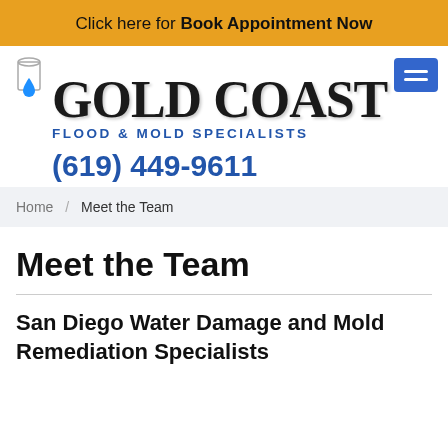Click here for Book Appointment Now
[Figure (logo): Gold Coast Flood & Mold Specialists logo with water drop icon and phone number (619) 449-9611]
Home / Meet the Team
Meet the Team
San Diego Water Damage and Mold Remediation Specialists